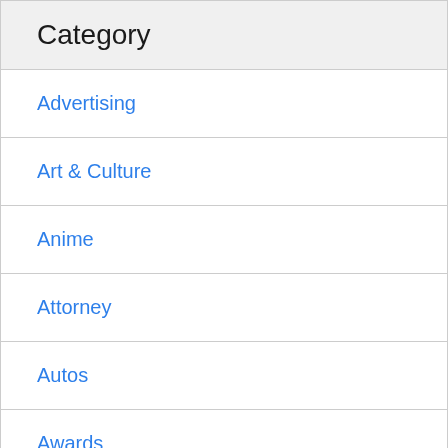Category
Advertising
Art & Culture
Anime
Attorney
Autos
Awards
Business
Careers